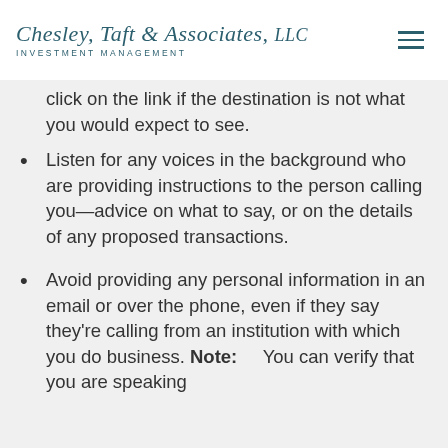Chesley, Taft & Associates, LLC — INVESTMENT MANAGEMENT
click on the link if the destination is not what you would expect to see.
Listen for any voices in the background who are providing instructions to the person calling you—advice on what to say, or on the details of any proposed transactions.
Avoid providing any personal information in an email or over the phone, even if they say they're calling from an institution with which you do business. Note: You can verify that you are speaking